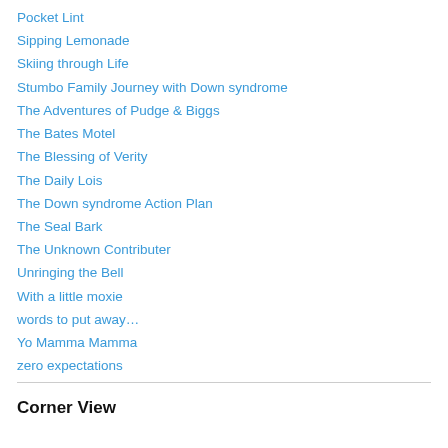Pocket Lint
Sipping Lemonade
Skiing through Life
Stumbo Family Journey with Down syndrome
The Adventures of Pudge & Biggs
The Bates Motel
The Blessing of Verity
The Daily Lois
The Down syndrome Action Plan
The Seal Bark
The Unknown Contributer
Unringing the Bell
With a little moxie
words to put away…
Yo Mamma Mamma
zero expectations
Corner View